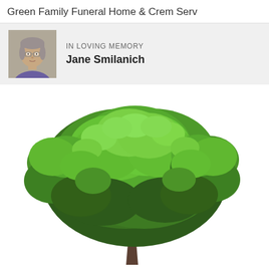Green Family Funeral Home & Crem Serv
IN LOVING MEMORY
Jane Smilanich
[Figure (photo): Large green leafy tree with full canopy against white background, with visible trunk at base. Memorial/funeral home decorative image.]